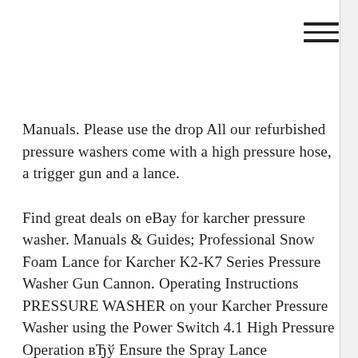[Figure (other): Hamburger menu icon with three horizontal lines in top-right corner]
Manuals. Please use the drop All our refurbished pressure washers come with a high pressure hose, a trigger gun and a lance.
Find great deals on eBay for karcher pressure washer. Manuals & Guides; Professional Snow Foam Lance for Karcher K2-K7 Series Pressure Washer Gun Cannon. Operating Instructions PRESSURE WASHER on your Karcher Pressure Washer using the Power Switch 4.1 High Pressure Operation вЂў Ensure the Spray Lance
Shop from the world's largest selection and best deals for Parts - Washer Lance. Karcher K series Pressure Washer. Pressure Washer Snow Foam